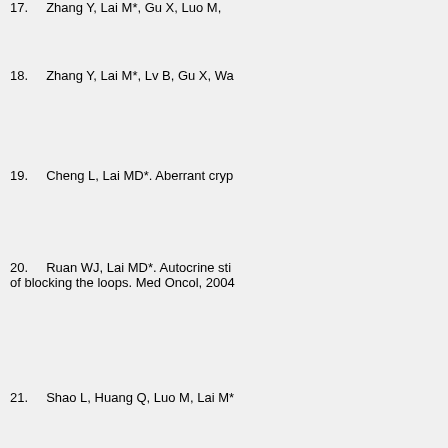17.    Zhang Y, Lai M*, Gu X, Luo M,
18.    Zhang Y, Lai M*, Lv B, Gu X, Wa
19.    Cheng L, Lai MD*. Aberrant cryp
20.    Ruan WJ, Lai MD*. Autocrine sti
of blocking the loops. Med Oncol, 2004
21.    Shao L, Huang Q, Luo M, Lai M*
fasting glucose in Chinese colorectal ca
22.    Lu BJ, Lai M*, Cheng L, Xu JY, H
lymphocytes and improved prognosis.
23.    Xu E, Lai M*, Lv B, Xing X, Huan
cancer. Biochem Biophys Res Commun
24.    Lu BJ, Lai MD, Dietel M. An ove
446(5):569-76.
25.    Lu BJ, Lai M*,